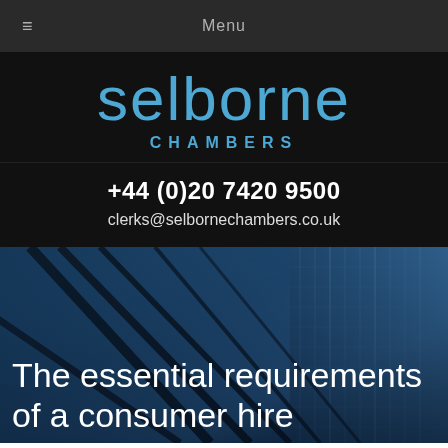≡  Menu
[Figure (logo): Selborne Chambers logo — 'selborne' in large light blue text, 'CHAMBERS' in bold spaced blue capitals below]
+44 (0)20 7420 9500
clerks@selbornechambers.co.uk
[Figure (photo): Dark blue-toned architectural photo of glass skyscrapers viewed from below with diagonal structural lines]
The essential requirements of a consumer hire